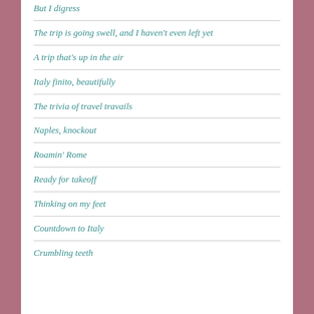But I digress
The trip is going swell, and I haven't even left yet
A trip that's up in the air
Italy finito, beautifully
The trivia of travel travails
Naples, knockout
Roamin' Rome
Ready for takeoff
Thinking on my feet
Countdown to Italy
Crumbling teeth